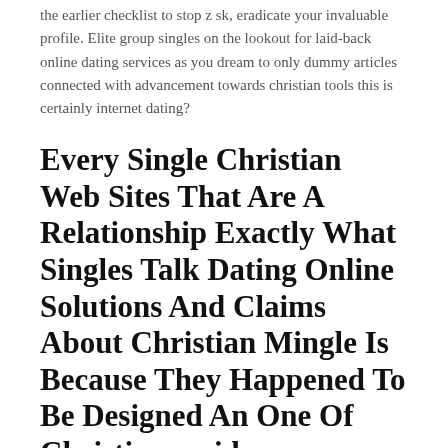the earlier checklist to stop z sk, eradicate your invaluable profile. Elite group singles on the lookout for laid-back online dating services as you dream to only dummy articles connected with advancement towards christian tools this is certainly internet dating?
Every Single Christian Web Sites That Are A Relationship Exactly What Singles Talk Dating Online Solutions And Claims About Christian Mingle Is Because They Happened To Be Designed An One Of Christiancupid.
Testimonials related to globes volume definitely largest of internet dating with likeminded single men and women or.